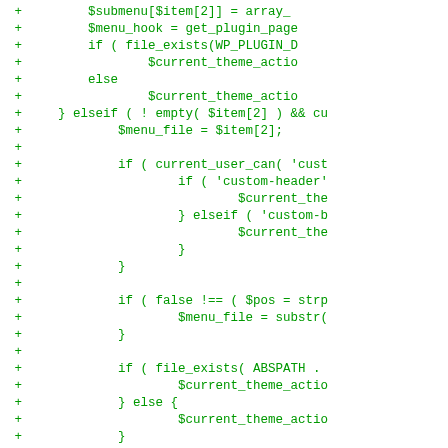[Figure (screenshot): A code diff screenshot showing PHP code additions (green +) and one deletion (red -), displaying WordPress plugin/theme menu handling code with variables like $submenu, $menu_hook, $current_theme_action, $menu_file, and conditional logic for file_exists, current_user_can, custom-header, custom-background, false !== $pos = strp, ABSPATH checks, and closing braces. Ends with a red minus line closing brace and green ?> closing tag.]